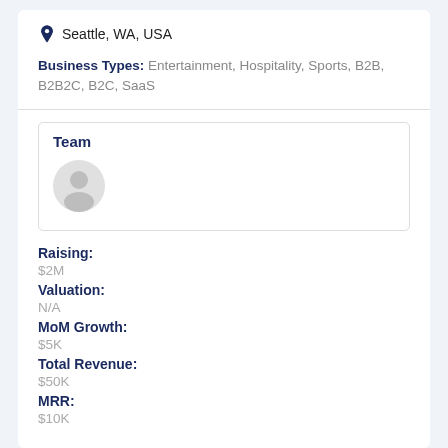Seattle, WA, USA
Business Types: Entertainment, Hospitality, Sports, B2B, B2B2C, B2C, SaaS
Team
[Figure (illustration): Generic user avatar icon (grey silhouette of a person)]
Raising:
$2M
Valuation:
N/A
MoM Growth:
$5K
Total Revenue:
$50K
MRR:
$10K